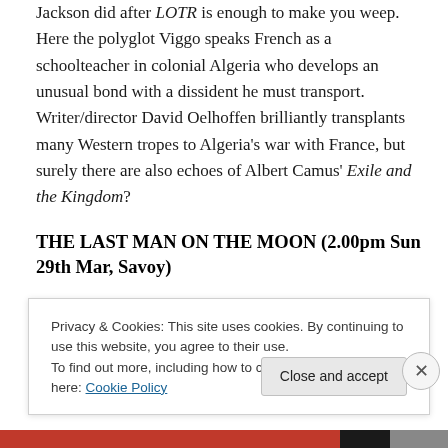Jackson did after LOTR is enough to make you weep. Here the polyglot Viggo speaks French as a schoolteacher in colonial Algeria who develops an unusual bond with a dissident he must transport. Writer/director David Oelhoffen brilliantly transplants many Western tropes to Algeria's war with France, but surely there are also echoes of Albert Camus' Exile and the Kingdom?
THE LAST MAN ON THE MOON (2.00pm Sun 29th Mar, Savoy)
The Last Man On The Moon is the story of Eugene
Privacy & Cookies: This site uses cookies. By continuing to use this website, you agree to their use.
To find out more, including how to control cookies, see here: Cookie Policy